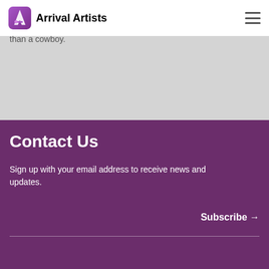Arrival Artists
With fierce honesty and a voice that immediately makes its mark on her debut record, Riddy Arman has proven herself as much more than a cowboy.
Contact Us
Sign up with your email address to receive news and updates.
Subscribe →